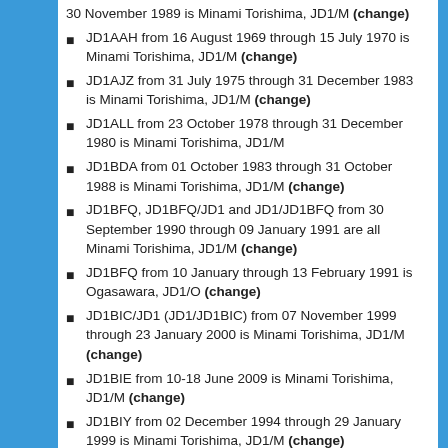30 November 1989 is Minami Torishima, JD1/M (change)
JD1AAH from 16 August 1969 through 15 July 1970 is Minami Torishima, JD1/M (change)
JD1AJZ from 31 July 1975 through 31 December 1983 is Minami Torishima, JD1/M (change)
JD1ALL from 23 October 1978 through 31 December 1980 is Minami Torishima, JD1/M
JD1BDA from 01 October 1983 through 31 October 1988 is Minami Torishima, JD1/M (change)
JD1BFQ, JD1BFQ/JD1 and JD1/JD1BFQ from 30 September 1990 through 09 January 1991 are all Minami Torishima, JD1/M (change)
JD1BFQ from 10 January through 13 February 1991 is Ogasawara, JD1/O (change)
JD1BIC/JD1 (JD1/JD1BIC) from 07 November 1999 through 23 January 2000 is Minami Torishima, JD1/M (change)
JD1BIE from 10-18 June 2009 is Minami Torishima, JD1/M (change)
JD1BIY from 02 December 1994 through 29 January 1999 is Minami Torishima, JD1/M (change)